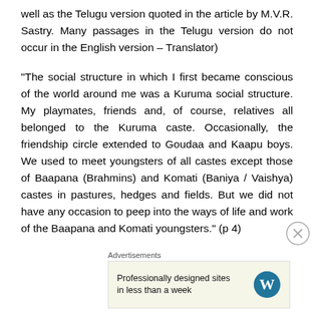well as the Telugu version quoted in the article by M.V.R. Sastry. Many passages in the Telugu version do not occur in the English version – Translator)
“The social structure in which I first became conscious of the world around me was a Kuruma social structure. My playmates, friends and, of course, relatives all belonged to the Kuruma caste. Occasionally, the friendship circle extended to Goudaa and Kaapu boys. We used to meet youngsters of all castes except those of Baapana (Brahmins) and Komati (Baniya / Vaishya) castes in pastures, hedges and fields. But we did not have any occasion to peep into the ways of life and work of the Baapana and Komati youngsters.” (p 4)
Advertisements
Professionally designed sites in less than a week